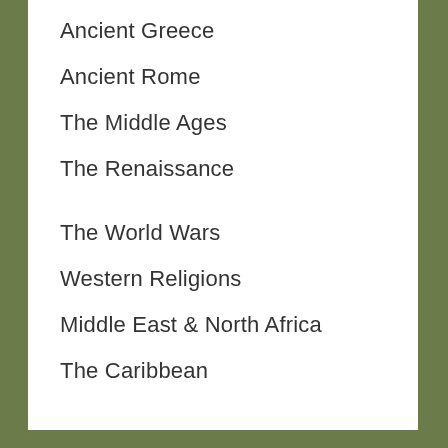Ancient Greece
Ancient Rome
The Middle Ages
The Renaissance
The World Wars
Western Religions
Middle East & North Africa
The Caribbean